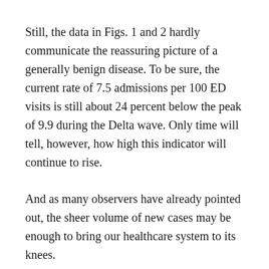Still, the data in Figs. 1 and 2 hardly communicate the reassuring picture of a generally benign disease. To be sure, the current rate of 7.5 admissions per 100 ED visits is still about 24 percent below the peak of 9.9 during the Delta wave. Only time will tell, however, how high this indicator will continue to rise.
And as many observers have already pointed out, the sheer volume of new cases may be enough to bring our healthcare system to its knees.